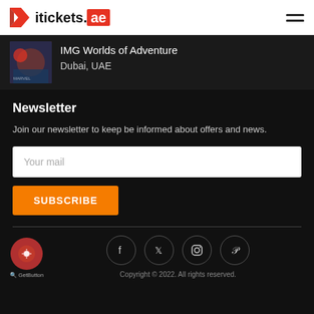itickets.ae
IMG Worlds of Adventure
Dubai, UAE
Newsletter
Join our newsletter to keep be informed about offers and news.
Your mail
SUBSCRIBE
Copyright © 2022. All rights reserved.